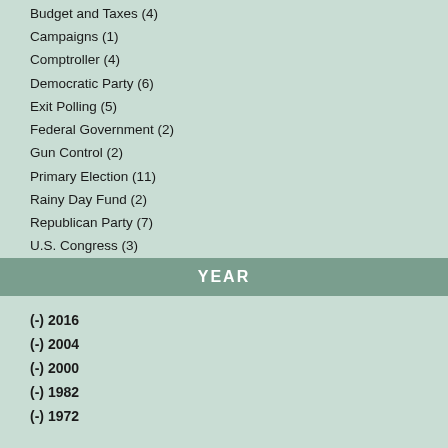Budget and Taxes (4)
Campaigns (1)
Comptroller (4)
Democratic Party (6)
Exit Polling (5)
Federal Government (2)
Gun Control (2)
Primary Election (11)
Rainy Day Fund (2)
Republican Party (7)
U.S. Congress (3)
Voting/Elections (2)
YEAR
(-) 2016
(-) 2004
(-) 2000
(-) 1982
(-) 1972